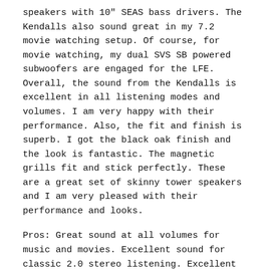speakers with 10" SEAS bass drivers. The Kendalls also sound great in my 7.2 movie watching setup. Of course, for movie watching, my dual SVS SB powered subwoofers are engaged for the LFE. Overall, the sound from the Kendalls is excellent in all listening modes and volumes. I am very happy with their performance. Also, the fit and finish is superb. I got the black oak finish and the look is fantastic. The magnetic grills fit and stick perfectly. These are a great set of skinny tower speakers and I am very pleased with their performance and looks.
Pros: Great sound at all volumes for music and movies. Excellent sound for classic 2.0 stereo listening. Excellent appearance and superb fit & finish